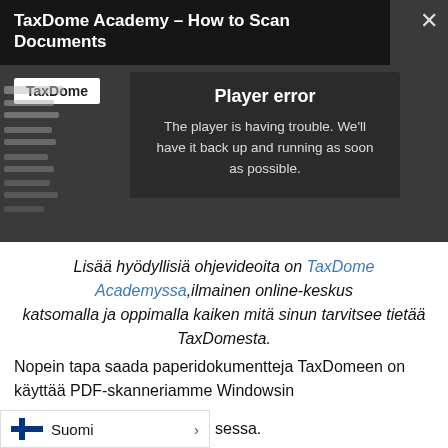[Figure (screenshot): Video player showing TaxDome Academy - How to Scan Documents with a player error message: 'Player error. The player is having trouble. We'll have it back up and running as soon as possible.' TaxDome logo button visible. Close X button top right.]
Lisää hyödyllisiä ohjevideoita on TaxDome Academyssa, ilmainen online-keskus katsomalla ja oppimalla kaiken mitä sinun tarvitsee tietää TaxDomesta.
Nopein tapa saada paperidokumentteja TaxDomeen on käyttää PDF-skanneriamme Windowsin sessa.